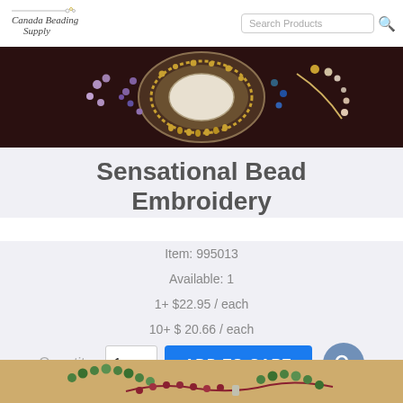Canada Beading Supply | Search Products
[Figure (photo): Close-up photo of ornate bead embroidery jewelry with cameo, metallic beads, and colorful seed beads on dark background]
Sensational Bead Embroidery
Item: 995013
Available: 1
1+ $22.95 / each
10+ $ 20.66 / each
Quantity: 1  ADD TO CART
[Figure (photo): Bottom portion of beaded jewelry photo showing green and red beaded necklace on tan background]